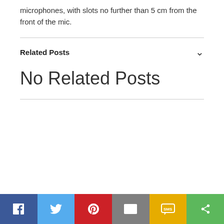microphones, with slots no further than 5 cm from the front of the mic.
Related Posts
No Related Posts
[Figure (infographic): Social sharing bar with Facebook, Twitter, Pinterest, Email, SMS, and Share buttons]